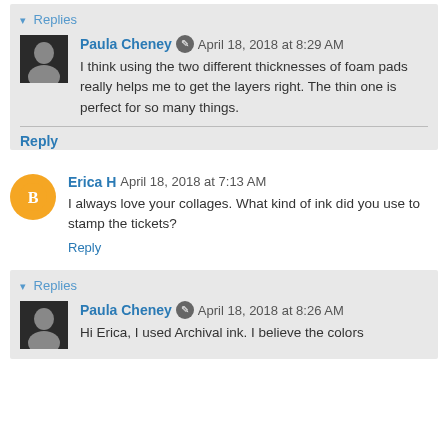▾ Replies
Paula Cheney  April 18, 2018 at 8:29 AM
I think using the two different thicknesses of foam pads really helps me to get the layers right. The thin one is perfect for so many things.
Reply
Erica H  April 18, 2018 at 7:13 AM
I always love your collages. What kind of ink did you use to stamp the tickets?
Reply
▾ Replies
Paula Cheney  April 18, 2018 at 8:26 AM
Hi Erica, I used Archival ink. I believe the colors